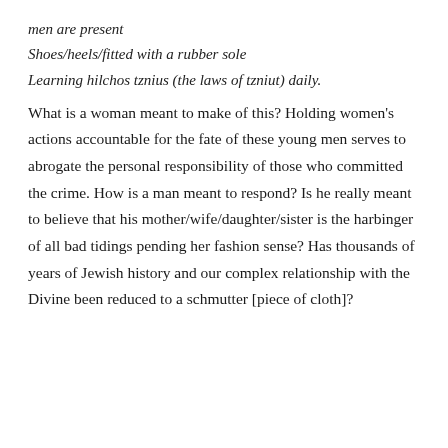men are present
Shoes/heels/fitted with a rubber sole
Learning hilchos tznius (the laws of tzniut) daily.
What is a woman meant to make of this? Holding women's actions accountable for the fate of these young men serves to abrogate the personal responsibility of those who committed the crime. How is a man meant to respond? Is he really meant to believe that his mother/wife/daughter/sister is the harbinger of all bad tidings pending her fashion sense? Has thousands of years of Jewish history and our complex relationship with the Divine been reduced to a schmutter [piece of cloth]?